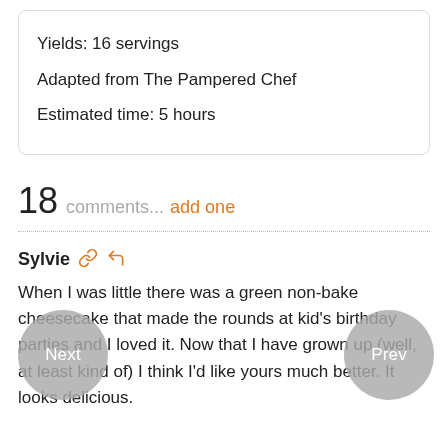Yields: 16 servings
Adapted from The Pampered Chef
Estimated time: 5 hours
18 comments... add one
Sylvie
When I was little there was a green non-bake cheesecake that made the rounds at kid's birthday parties and I loved it. Now that I have grown up (well, at least kind of) I think I'd like yours much better. It looks delicious.